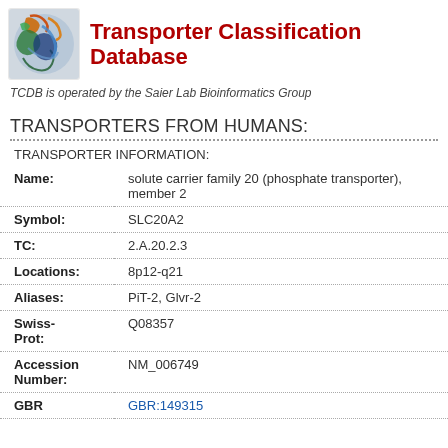[Figure (logo): Transporter Classification Database logo with protein structure image]
Transporter Classification Database
TCDB is operated by the Saier Lab Bioinformatics Group
TRANSPORTERS FROM HUMANS:
TRANSPORTER INFORMATION:
| Field | Value |
| --- | --- |
| Name: | solute carrier family 20 (phosphate transporter), member 2 |
| Symbol: | SLC20A2 |
| TC: | 2.A.20.2.3 |
| Locations: | 8p12-q21 |
| Aliases: | PiT-2, Glvr-2 |
| Swiss-Prot: | Q08357 |
| Accession Number: | NM_006749 |
| GBR | GBR:149315 |